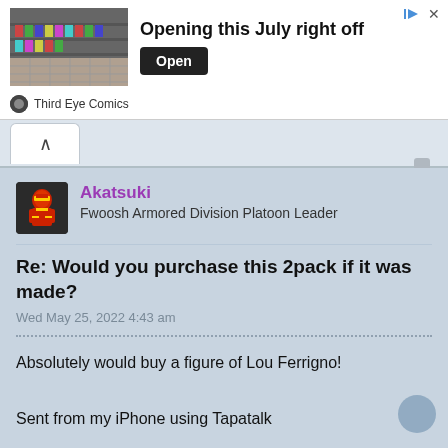[Figure (screenshot): Advertisement banner for Third Eye Comics with store interior photo, bold text 'Opening this July right off', and an 'Open' button]
Third Eye Comics
[Figure (screenshot): Collapse/tab button with upward chevron arrow]
Akatsuki
Fwoosh Armored Division Platoon Leader
Re: Would you purchase this 2pack if it was made?
Wed May 25, 2022 4:43 am
Absolutely would buy a figure of Lou Ferrigno!
Sent from my iPhone using Tapatalk